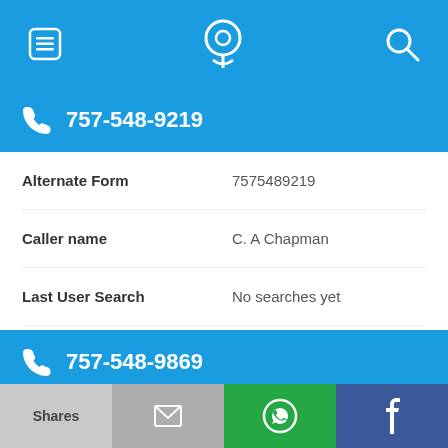[Figure (screenshot): Top navigation bar with hamburger menu icon, phone/location icon in center, and search icon on right, blue background]
757-548-9219
| Field | Value |
| --- | --- |
| Alternate Form | 7575489219 |
| Caller name | C. A Chapman |
| Last User Search | No searches yet |
| Comments | 0 |
757-548-9869
Alternate Form   7575489869
[Figure (screenshot): Bottom share bar with four buttons: Shares (light gray), email icon (gray), WhatsApp icon (green), Facebook icon (dark blue)]